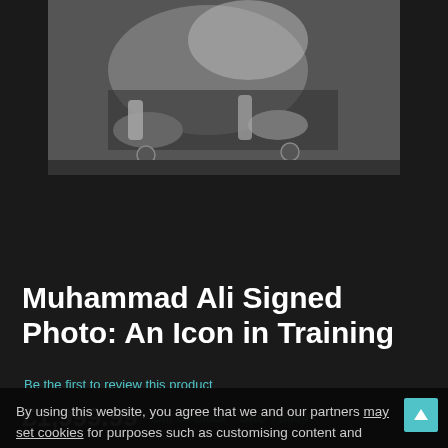[Figure (photo): Black and white photograph of Muhammad Ali in training, showing legs/feet on a gym floor]
Muhammad Ali Signed Photo: An Icon in Training
Be the first to review this product
£1,999.99   Out Of Stock   SKU TB964
By using this website, you agree that we and our partners may set cookies for purposes such as customising content and advertising.
Understand
This superb print of US boxing legend Muhammad Ali in training was personally signed by "The Greatest" himself during a private